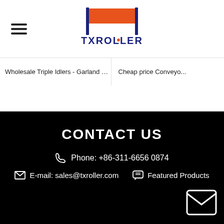[Figure (logo): TXRoller company logo with orange rectangular bar and dark blue text]
Wholesale Triple Idlers - Garland Ro...
Cheap price Conveyo...
CONTACT US
Phone: +86-311-6656 0874
E-mail: sales@txroller.com
Featured Products
[Figure (illustration): Envelope/mail icon in bottom right corner]